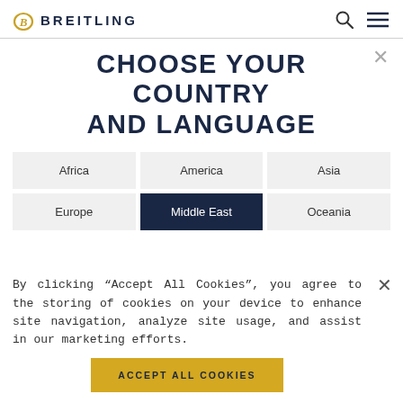[Figure (logo): Breitling logo with stylized B icon and wordmark in navy]
CHOOSE YOUR COUNTRY AND LANGUAGE
Africa
America
Asia
Europe
Middle East
Oceania
By clicking “Accept All Cookies”, you agree to the storing of cookies on your device to enhance site navigation, analyze site usage, and assist in our marketing efforts.
ACCEPT ALL COOKIES